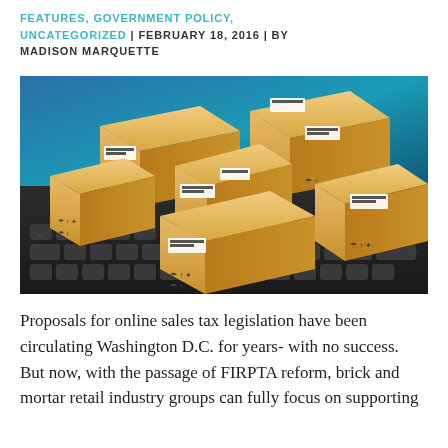FEATURES, GOVERNMENT POLICY, UNCATEGORIZED | FEBRUARY 18, 2016 | BY MADISON MARQUETTE
[Figure (photo): Multiple cardboard shipping boxes stacked on a laptop keyboard, with a blurred blue digital background. The boxes have various shipping labels and handling symbols.]
Proposals for online sales tax legislation have been circulating Washington D.C. for years- with no success.  But now, with the passage of FIRPTA reform, brick and mortar retail industry groups can fully focus on supporting